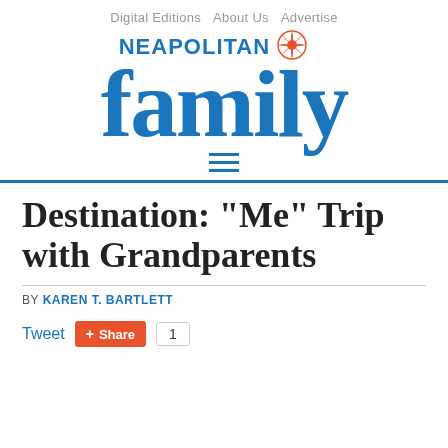Digital Editions  About Us  Advertise
[Figure (logo): Neapolitan Family magazine logo with blue serif 'family' text and sun icon]
Destination: "Me" Trip with Grandparents
BY KAREN T. BARTLETT
Tweet  Share  1